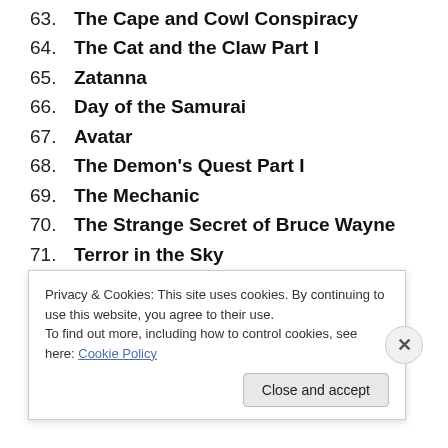63. The Cape and Cowl Conspiracy
64. The Cat and the Claw Part I
65. Zatanna
66. Day of the Samurai
67. Avatar
68. The Demon's Quest Part I
69. The Mechanic
70. The Strange Secret of Bruce Wayne
71. Terror in the Sky
72. P.O.V.
73. Christmas with the Joker
Privacy & Cookies: This site uses cookies. By continuing to use this website, you agree to their use. To find out more, including how to control cookies, see here: Cookie Policy